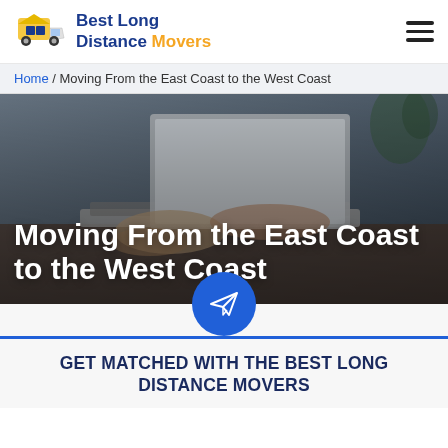Best Long Distance Movers
Home / Moving From the East Coast to the West Coast
[Figure (photo): Person typing on a laptop, hero image with overlay title 'Moving From the East Coast to the West Coast']
Moving From the East Coast to the West Coast
GET MATCHED WITH THE BEST LONG DISTANCE MOVERS